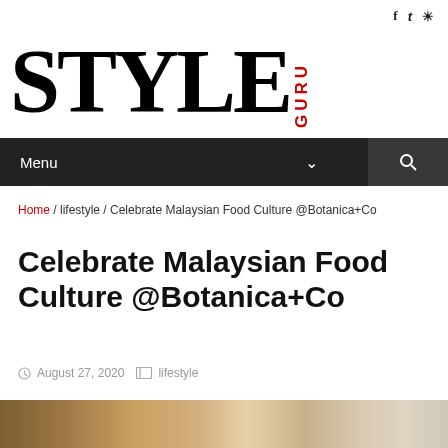f  t  Instagram
[Figure (logo): STYLE GURU logo — STYLE in large serif black font, GURU in red vertical text]
Menu  ∨  🔍
Home / lifestyle / Celebrate Malaysian Food Culture @Botanica+Co
Celebrate Malaysian Food Culture @Botanica+Co
August 27, 2020  lifestyle
[Figure (photo): Food photography showing Malaysian dishes at Botanica+Co restaurant]